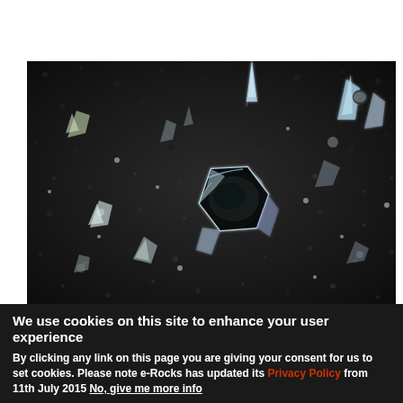[Figure (photo): Close-up macro photograph of mineral crystals, showing hexagonal crystal formations with iridescent faces on a dark matrix background. The central crystal is a large hexagonal shape with reflective facets.]
We use cookies on this site to enhance your user experience
By clicking any link on this page you are giving your consent for us to set cookies. Please note e-Rocks has updated its Privacy Policy from 11th July 2015 No, give me more info